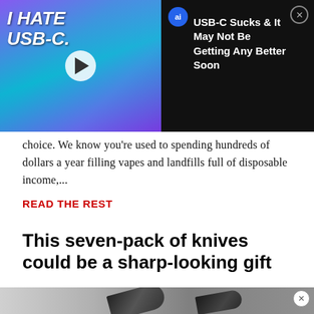[Figure (screenshot): Video thumbnail showing USB cables with text 'I HATE USB-C' and a play button, alongside a black panel with 'ai' badge and headline 'USB-C Sucks & It May Not Be Getting Any Better Soon' with close button]
choice. We know you're used to spending hundreds of dollars a year filling vapes and landfills full of disposable income,...
READ THE REST
This seven-pack of knives could be a sharp-looking gift
[Figure (photo): Partial image of knives against a light grey background with a close button in top right]